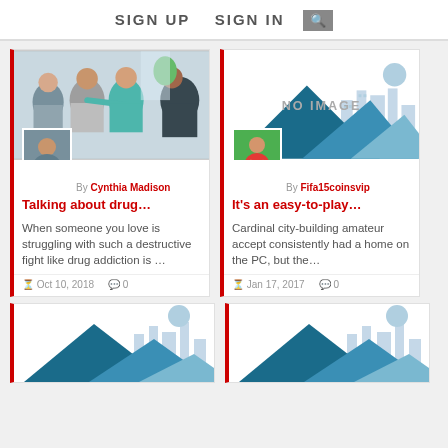SIGN UP   SIGN IN   🔍
[Figure (photo): Group therapy session with people sitting in a circle, one person gesturing while others listen]
[Figure (illustration): No image placeholder with mountain silhouettes and city skyline illustration in light blue tones]
By Cynthia Madison
By Fifa15coinsvip
Talking about drug…
It's an easy-to-play…
When someone you love is struggling with such a destructive fight like drug addiction is …
Cardinal city-building amateur accept consistently had a home on the PC, but the…
Oct 10, 2018   0
Jan 17, 2017   0
[Figure (illustration): No image placeholder with mountain silhouettes and city skyline illustration in light blue tones (bottom left card, partially visible)]
[Figure (illustration): No image placeholder with mountain silhouettes and city skyline illustration in light blue tones (bottom right card, partially visible)]